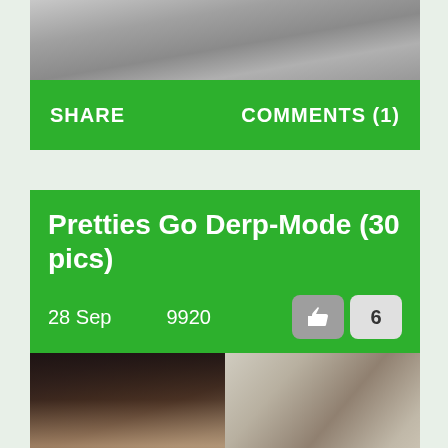[Figure (photo): Top portion of an image showing a gray textured surface]
SHARE
COMMENTS (1)
Pretties Go Derp-Mode (30 pics)
28 Sep   9920
[Figure (photo): Two side-by-side photos: left shows a young woman with dark hair and a choker necklace; right shows a woman making a surprised/derp face]